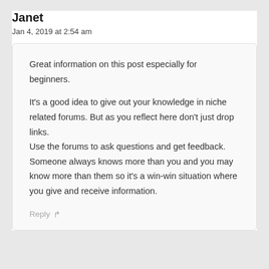Janet
Jan 4, 2019 at 2:54 am
Great information on this post especially for beginners.
It's a good idea to give out your knowledge in niche related forums. But as you reflect here don't just drop links.
Use the forums to ask questions and get feedback.
Someone always knows more than you and you may know more than them so it's a win-win situation where you give and receive information.
Reply